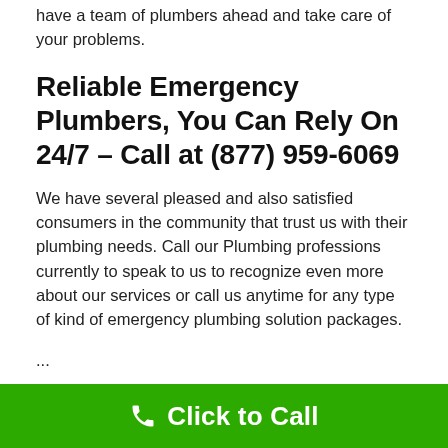have a team of plumbers ahead and take care of your problems.
Reliable Emergency Plumbers, You Can Rely On 24/7 – Call at (877) 959-6069
We have several pleased and also satisfied consumers in the community that trust us with their plumbing needs. Call our Plumbing professions currently to speak to us to recognize even more about our services or call us anytime for any type of kind of emergency plumbing solution packages.
...
Where To Find Plumber in Loreauville
Click to Call